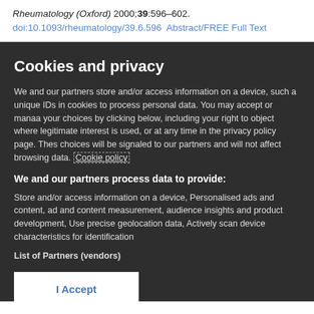Rheumatology (Oxford) 2000;39:596–602. doi:10.1093/rheumatology/39.6.596  Abstract/FREE Full Text
Cookies and privacy
We and our partners store and/or access information on a device, such as unique IDs in cookies to process personal data. You may accept or manage your choices by clicking below, including your right to object where legitimate interest is used, or at any time in the privacy policy page. These choices will be signaled to our partners and will not affect browsing data. Cookie policy
We and our partners process data to provide:
Store and/or access information on a device, Personalised ads and content, ad and content measurement, audience insights and product development, Use precise geolocation data, Actively scan device characteristics for identification
List of Partners (vendors)
I Accept